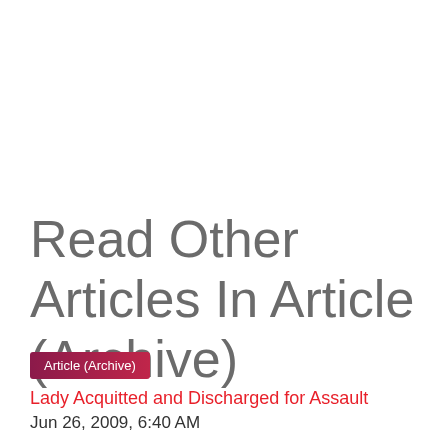Read Other Articles In Article (Archive)
Article (Archive)
Lady Acquitted and Discharged for Assault
Jun 26, 2009, 6:40 AM